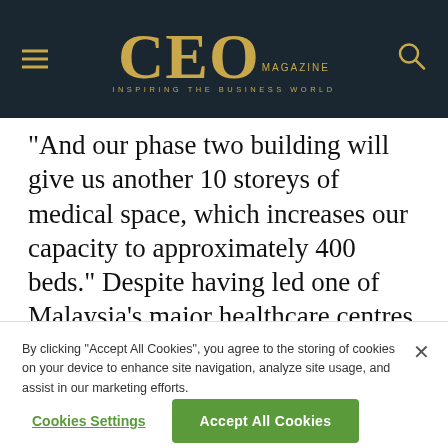CEO MAGAZINE — INSPIRING THE BUSINESS WORLD
“And our phase two building will give us another 10 storeys of medical space, which increases our capacity to approximately 400 beds.” Despite having led one of Malaysia’s major healthcare centres through the worst public health crises in a century, Derrick has lost none of his motivation or positivity.
By clicking “Accept All Cookies”, you agree to the storing of cookies on your device to enhance site navigation, analyze site usage, and assist in our marketing efforts.
Cookies Settings
Accept All Cookies